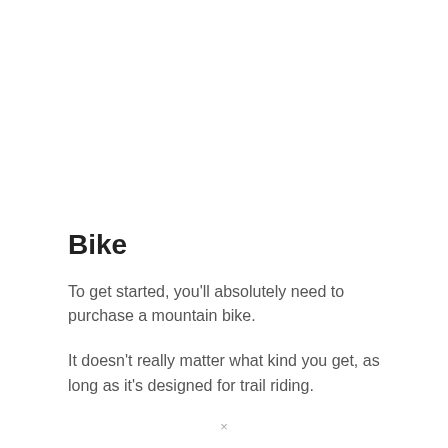Bike
To get started, you'll absolutely need to purchase a mountain bike.
It doesn't really matter what kind you get, as long as it's designed for trail riding.
×